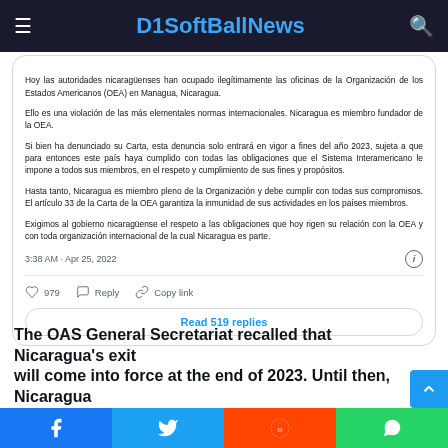D1SoftBallNews
Hoy las autoridades nicaragüenses han ocupado ilegítimamente las oficinas de la Organización de los Estados Americanos (OEA) en Managua, Nicaragua.

Ello es una violación de las más elementales normas internacionales. Nicaragua es miembro fundador de la OEA.

Si bien ha denunciado su Carta, esta denuncia solo entrará en vigor a fines del año 2023, sujeta a que para entonces este país haya cumplido con todas las obligaciones que el Sistema Interamericano le impone a todos sus miembros, en el respeto y cumplimiento de sus fines y propósitos.

Hasta tanto, Nicaragua es miembro pleno de la Organización y debe cumplir con todas sus compromisos. El artículo 33 de la Carta de la OEA garantiza la inmunidad de sus actividades en los países miembros.

Exigimos al gobierno nicaragüense el respeto a las obligaciones que hoy rigen su relación con la OEA y con toda organización internacional de la cual Nicaragua es parte.
3:38 AM · Apr 25, 2022
979  Reply  Copy link
Read 519 replies
The OAS General Secretariat recalled that Nicaragua's exit will come into force at the end of 2023. Until then, Nicaragua